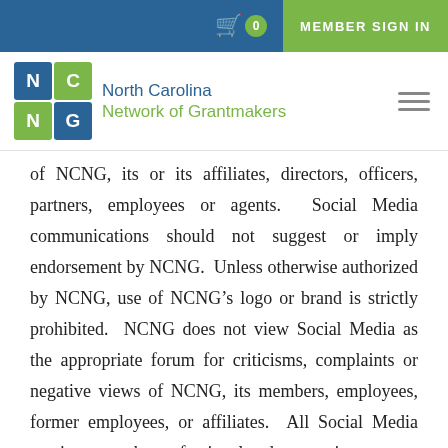MEMBER SIGN IN
[Figure (logo): North Carolina Network of Grantmakers logo with 2x2 colored grid (blue N, green C, green N, blue G) and organization name]
of NCNG, its or its affiliates, directors, officers, partners, employees or agents.  Social Media communications should not suggest or imply endorsement by NCNG.  Unless otherwise authorized by NCNG, use of NCNG’s logo or brand is strictly prohibited.  NCNG does not view Social Media as the appropriate forum for criticisms, complaints or negative views of NCNG, its members, employees, former employees, or affiliates.  All Social Media postings must be professional and appropriate.